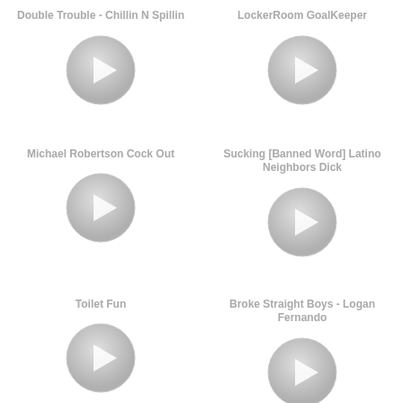Double Trouble - Chillin N Spillin
[Figure (illustration): Gray circular play button icon]
LockerRoom GoalKeeper
[Figure (illustration): Gray circular play button icon]
Michael Robertson Cock Out
[Figure (illustration): Gray circular play button icon]
Sucking [Banned Word] Latino Neighbors Dick
[Figure (illustration): Gray circular play button icon]
Toilet Fun
[Figure (illustration): Gray circular play button icon]
Broke Straight Boys - Logan Fernando
[Figure (illustration): Gray circular play button icon]
[Figure (illustration): Gray circular play button icon (partial, bottom)]
[Figure (illustration): Gray circular play button icon (partial, bottom)]